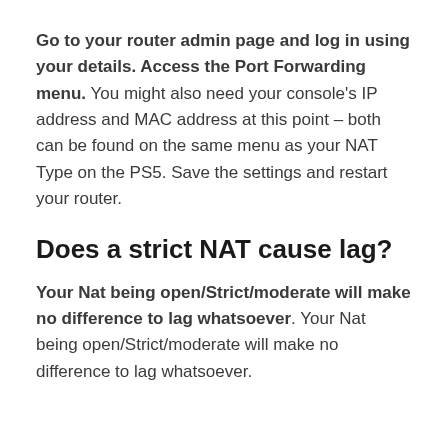Go to your router admin page and log in using your details. Access the Port Forwarding menu. You might also need your console's IP address and MAC address at this point – both can be found on the same menu as your NAT Type on the PS5. Save the settings and restart your router.
Does a strict NAT cause lag?
Your Nat being open/Strict/moderate will make no difference to lag whatsoever. Your Nat being open/Strict/moderate will make no difference to lag whatsoever.